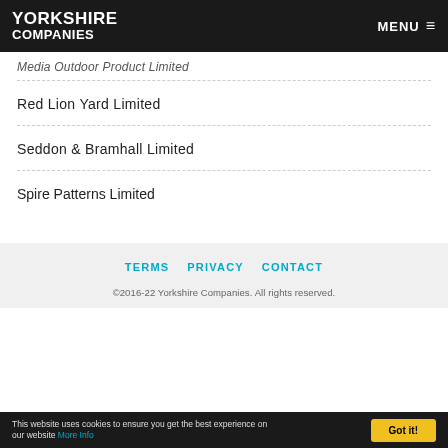YORKSHIRE COMPANIES | MENU
Media Outdoor Product Limited
Red Lion Yard Limited
Seddon & Bramhall Limited
Spire Patterns Limited
TERMS   PRIVACY   CONTACT
©2016-22 Yorkshire Companies. All rights reserved.
This website uses cookies to ensure you get the best experience on our website More Info   Got it!